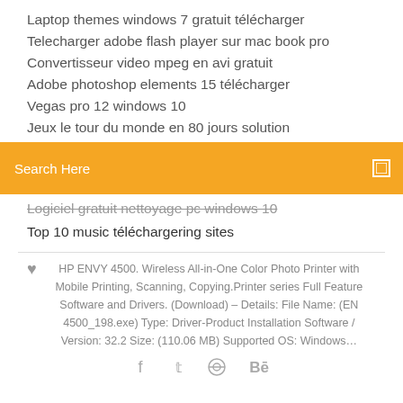Laptop themes windows 7 gratuit télécharger
Telecharger adobe flash player sur mac book pro
Convertisseur video mpeg en avi gratuit
Adobe photoshop elements 15 télécharger
Vegas pro 12 windows 10
Jeux le tour du monde en 80 jours solution
Search Here
Logiciel gratuit nettoyage pc windows 10
Top 10 music téléchargering sites
❤ HP ENVY 4500. Wireless All-in-One Color Photo Printer with Mobile Printing, Scanning, Copying.Printer series Full Feature Software and Drivers. (Download) – Details: File Name: (EN 4500_198.exe) Type: Driver-Product Installation Software / Version: 32.2 Size: (110.06 MB) Supported OS: Windows…